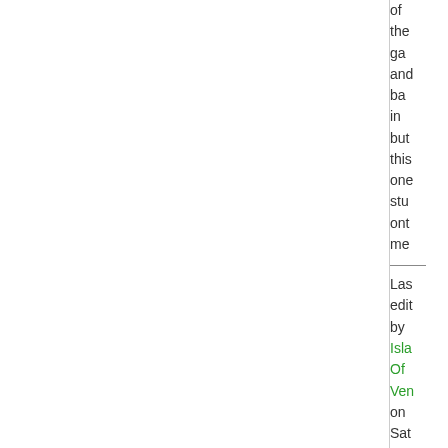of the ga and ba in but this one stu ont me
Last edit by Isla Of Ven on Sat Apr 20th 198 edit 69,4 time